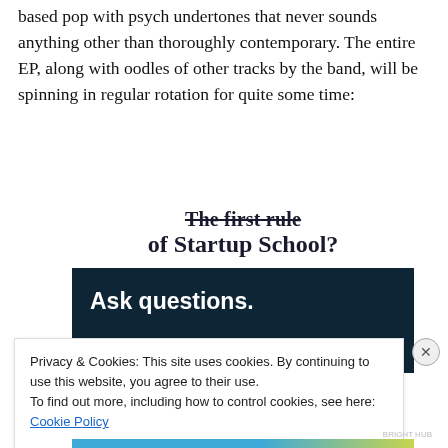based pop with psych undertones that never sounds anything other than thoroughly contemporary. The entire EP, along with oodles of other tracks by the band, will be spinning in regular rotation for quite some time:
[Figure (infographic): Advertisement for Startup School with strikethrough text 'The first rule' and bold text 'of Startup School?' followed by a dark navy banner with white bold text 'Ask questions.']
Privacy & Cookies: This site uses cookies. By continuing to use this website, you agree to their use.
To find out more, including how to control cookies, see here: Cookie Policy
Close and accept